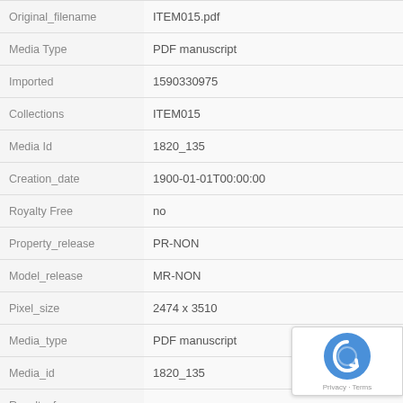| Field | Value |
| --- | --- |
| Original_filename | ITEM015.pdf |
| Media Type | PDF manuscript |
| Imported | 1590330975 |
| Collections | ITEM015 |
| Media Id | 1820_135 |
| Creation_date | 1900-01-01T00:00:00 |
| Royalty Free | no |
| Property_release | PR-NON |
| Model_release | MR-NON |
| Pixel_size | 2474 x 3510 |
| Media_type | PDF manuscript |
| Media_id | 1820_135 |
| Royalty_free | no |